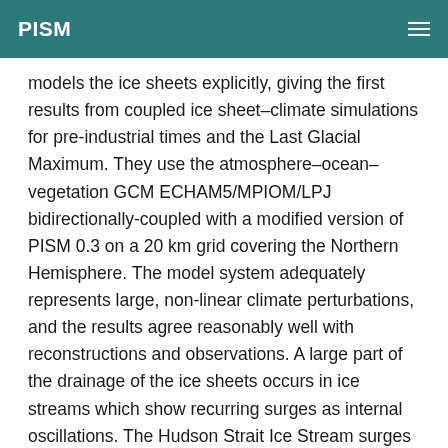PISM
models the ice sheets explicitly, giving the first results from coupled ice sheet–climate simulations for pre-industrial times and the Last Glacial Maximum. They use the atmosphere–ocean–vegetation GCM ECHAM5/MPIOM/LPJ bidirectionally-coupled with a modified version of PISM 0.3 on a 20 km grid covering the Northern Hemisphere. The model system adequately represents large, non-linear climate perturbations, and the results agree reasonably well with reconstructions and observations. A large part of the drainage of the ice sheets occurs in ice streams which show recurring surges as internal oscillations. The Hudson Strait Ice Stream surges with an ice volume equivalent to about 5 m sea level and a recurrence interval of about 7000 yr, in agreement with basic expectations for